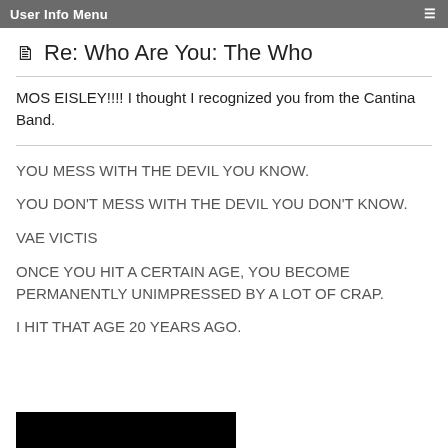User Info Menu
Re: Who Are You: The Who
MOS EISLEY!!!! I thought I recognized you from the Cantina Band.
YOU MESS WITH THE DEVIL YOU KNOW.

YOU DON'T MESS WITH THE DEVIL YOU DON'T KNOW.

VAE VICTIS

ONCE YOU HIT A CERTAIN AGE, YOU BECOME PERMANENTLY UNIMPRESSED BY A LOT OF CRAP.

I HIT THAT AGE 20 YEARS AGO.
[Figure (photo): Black rectangle at the bottom, partial image obscured]